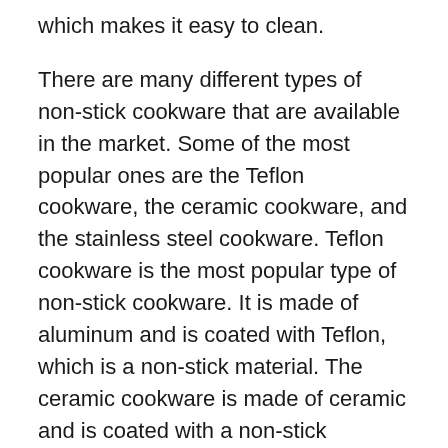which makes it easy to clean.
There are many different types of non-stick cookware that are available in the market. Some of the most popular ones are the Teflon cookware, the ceramic cookware, and the stainless steel cookware. Teflon cookware is the most popular type of non-stick cookware. It is made of aluminum and is coated with Teflon, which is a non-stick material. The ceramic cookware is made of ceramic and is coated with a non-stick material. The stainless steel cookware is made of stainless steel and is not coated with a non-stick material.
The best non-stick cookware is the Teflon cookware. It is the most popular type of non-stick cookware and it is made of aluminum. The Teflon cookware is coated with Teflon, which is a non-stick material. This material prevents the food from sticking to the